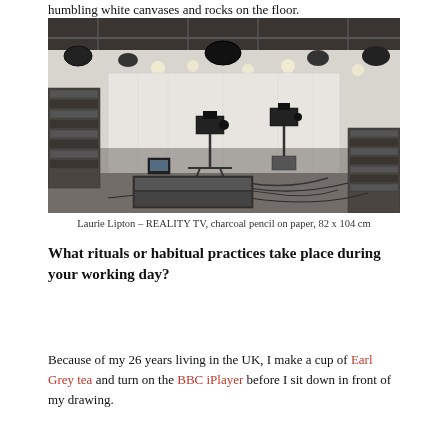humbling white canvases and rocks on the floor.
[Figure (illustration): Charcoal pencil drawing of a television studio with cameras on tripods, tangled cables on the floor, studio lights overhead, broadcasting equipment stacks on sides, and white curtain backdrop. Black and white detailed drawing.]
Laurie Lipton – REALITY TV, charcoal pencil on paper, 82 x 104 cm
What rituals or habitual practices take place during your working day?
Because of my 26 years living in the UK, I make a cup of Earl Grey tea and turn on the BBC iPlayer before I sit down in front of my drawing.